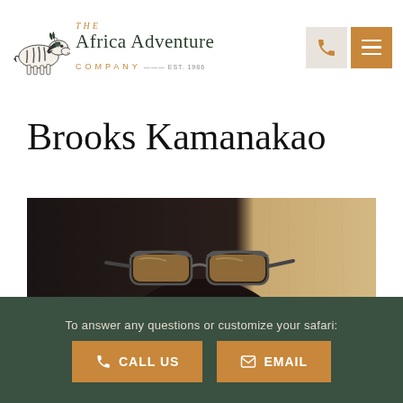[Figure (logo): The Africa Adventure Company logo with zebra illustration and company name]
Brooks Kamanakao
[Figure (photo): Close-up photo of a person wearing sunglasses on their head, dark background with wood panel visible]
To answer any questions or customize your safari:
CALL US
EMAIL